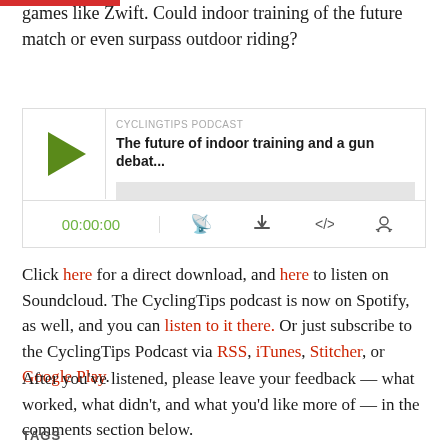...of indoor training, augmented reality, and games like Zwift. Could indoor training of the future match or even surpass outdoor riding?
[Figure (other): Podcast player widget for CyclingTips Podcast episode 'The future of indoor training and a gun debat...' showing play button, progress bar, timestamp 00:00:00, and control icons]
Click here for a direct download, and here to listen on Soundcloud. The CyclingTips podcast is now on Spotify, as well, and you can listen to it there. Or just subscribe to the CyclingTips Podcast via RSS, iTunes, Stitcher, or Google Play.
After you've listened, please leave your feedback — what worked, what didn't, and what you'd like more of — in the comments section below.
TAGS